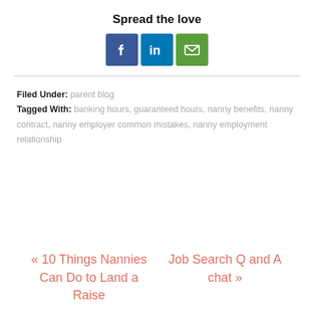Spread the love
[Figure (illustration): Three social sharing icons: Facebook (blue), LinkedIn (blue), and Email (green)]
Filed Under: parent blog
Tagged With: banking hours, guaranteed hours, nanny benefits, nanny contract, nanny employer common mistakes, nanny employment relationship
« 10 Things Nannies Can Do to Land a Raise
Job Search Q and A chat »